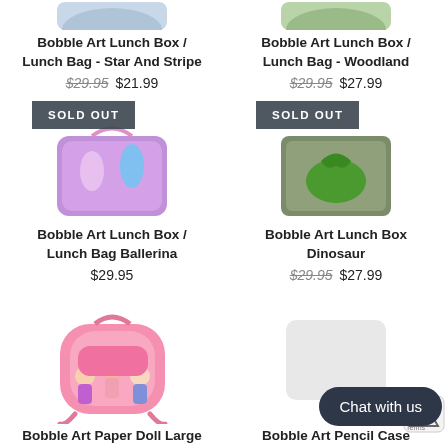[Figure (photo): Bobble Art Lunch Box Star And Stripe product image (partial top)]
Bobble Art Lunch Box / Lunch Bag - Star And Stripe
$29.95  $21.99
[Figure (photo): Bobble Art Lunch Box Woodland product image (partial top)]
Bobble Art Lunch Box / Lunch Bag - Woodland
$29.95  $27.99
[Figure (photo): Bobble Art Lunch Box Ballerina with SOLD OUT badge]
Bobble Art Lunch Box / Lunch Bag Ballerina
$29.95
[Figure (photo): Bobble Art Lunch Box Dinosaur with SOLD OUT badge]
Bobble Art Lunch Box Dinosaur
$29.95  $27.99
[Figure (photo): Bobble Art Paper Doll Large backpack in pink]
Bobble Art Paper Doll Large
[Figure (screenshot): Bobble Art Pencil Case partial text and Chat with us button overlay]